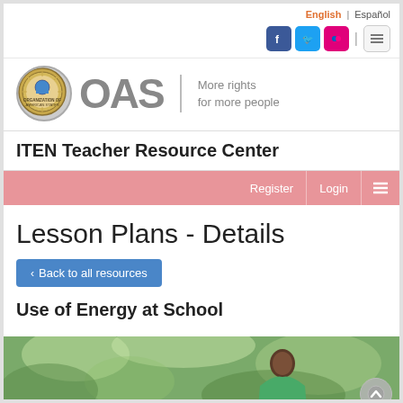English | Español
[Figure (logo): OAS logo with seal and tagline 'More rights for more people', with social media icons (Facebook, Twitter, Flickr) and menu icon]
ITEN Teacher Resource Center
Register | Login | ☰
Lesson Plans - Details
‹ Back to all resources
Use of Energy at School
[Figure (photo): Photo of a person in a green shirt outdoors among greenery, with an upward scroll button in the bottom right corner]